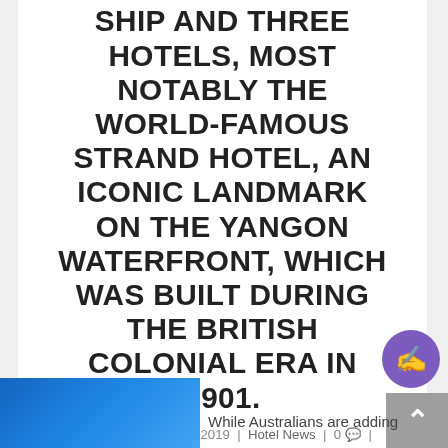SHIP AND THREE HOTELS, MOST NOTABLY THE WORLD-FAMOUS STRAND HOTEL, AN ICONIC LANDMARK ON THE YANGON WATERFRONT, WHICH WAS BUILT DURING THE BRITISH COLONIAL ERA IN 1901.
Posted by | May 11, 2019 | Hotel News | 0 |
★ ★ ★ ★ ★
While Australians are adding